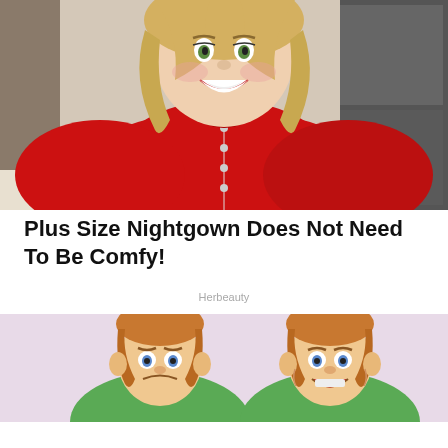[Figure (photo): Woman with blonde hair wearing a red button-up shirt, smiling, photographed from waist up in a kitchen setting]
Plus Size Nightgown Does Not Need To Be Comfy!
Herbeauty
[Figure (illustration): Two cartoon male figures side by side on pink/lavender background, showing before and after expressions — one looking sad/uncertain, the other happy/laughing, both wearing green shirts]